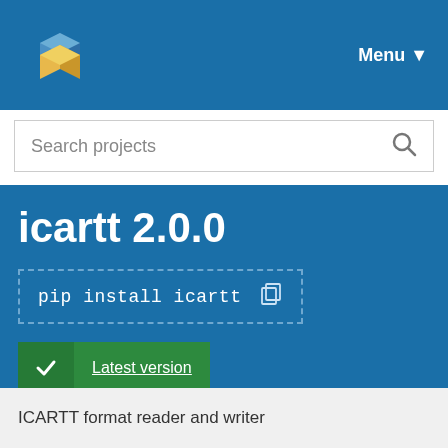[Figure (logo): PyPI logo - stacked blue and yellow box icons]
Menu ▼
Search projects
icartt 2.0.0
pip install icartt
Latest version
Released: Apr 28, 2022
ICARTT format reader and writer